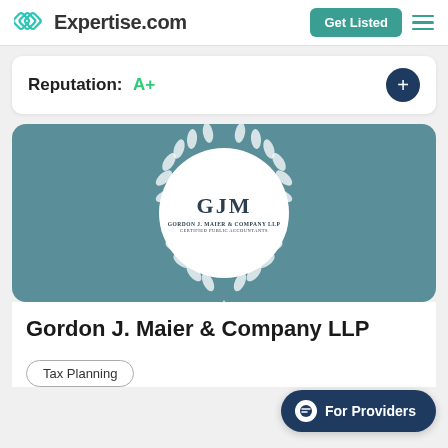Expertise.com | Get Listed
Reputation: A+
[Figure (logo): Gordon J. Maier & Company LLP logo on teal banner with laurel wreath and circular white badge showing GJM initials]
Gordon J. Maier & Company LLP
Tax Planning